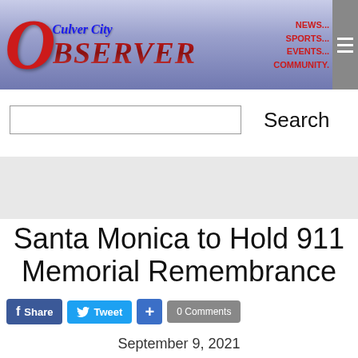[Figure (logo): Culver City Observer newspaper logo with red and blue lettering on gradient blue-purple banner, with navigation links NEWS... SPORTS... EVENTS... COMMUNITY. and hamburger menu icon]
Search
Santa Monica to Hold 911 Memorial Remembrance
Share  Tweet  0 Comments
September 9, 2021